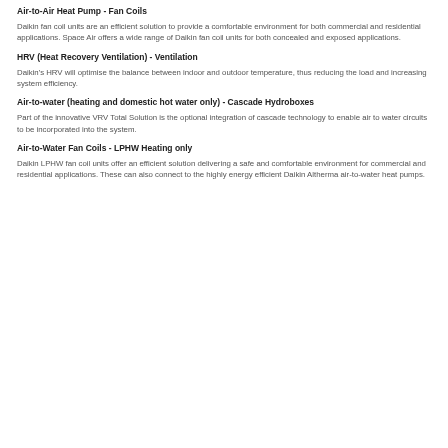Air-to-Air Heat Pump - Fan Coils
Daikin fan coil units are an efficient solution to provide a comfortable environment for both commercial and residential applications. Space Air offers a wide range of Daikin fan coil units for both concealed and exposed applications.
HRV (Heat Recovery Ventilation) - Ventilation
Daikin's HRV will optimise the balance between indoor and outdoor temperature, thus reducing the load and increasing system efficiency.
Air-to-water (heating and domestic hot water only) - Cascade Hydroboxes
Part of the innovative VRV Total Solution is the optional integration of cascade technology to enable air to water circuits to be incorporated into the system.
Air-to-Water Fan Coils - LPHW Heating only
Daikin LPHW fan coil units offer an efficient solution delivering a safe and comfortable environment for commercial and residential applications. These can also connect to the highly energy efficient Daikin Altherma air-to-water heat pumps.